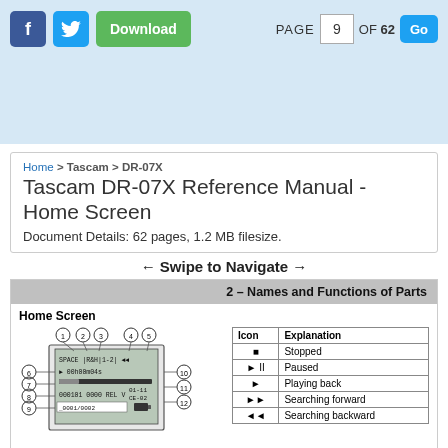f [Facebook] [Twitter] Download | PAGE 9 OF 62 Go
Home > Tascam > DR-07X
Tascam DR-07X Reference Manual - Home Screen
Document Details: 62 pages, 1.2 MB filesize.
← Swipe to Navigate →
2 – Names and Functions of Parts
Home Screen
[Figure (schematic): Diagram of the DR-07X home screen display with numbered callouts 1-12 indicating various interface elements]
| Icon | Explanation |
| --- | --- |
| ■ | Stopped |
| ►II | Paused |
| ► | Playing back |
| ►► | Searching forward |
| ◄◄ | Searching backward |